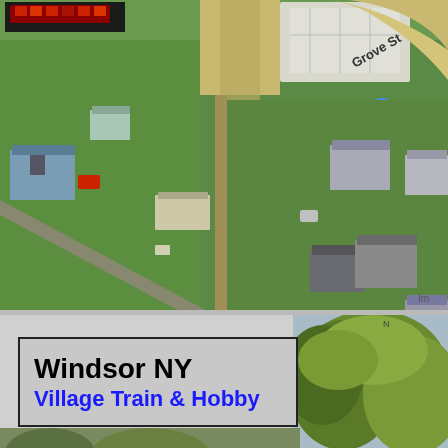[Figure (map): Aerial/satellite view of Windsor NY neighborhood showing streets including Grove St, residential houses, green lawns, parking lots, and a Google Maps location pin labeled 'Village' in the upper right area. The map shows an overhead view with roads, buildings, and vegetation.]
[Figure (photo): Bottom portion showing a sign with text 'Windsor NY Village Train & Hobby' overlaid on a partial outdoor photo with trees in the background on the right side.]
Windsor NY
Village Train & Hobby